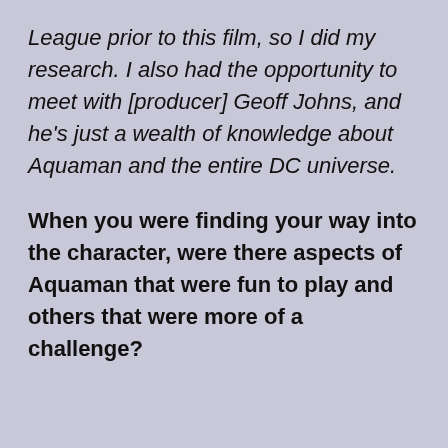League prior to this film, so I did my research. I also had the opportunity to meet with [producer] Geoff Johns, and he's just a wealth of knowledge about Aquaman and the entire DC universe.
When you were finding your way into the character, were there aspects of Aquaman that were fun to play and others that were more of a challenge?